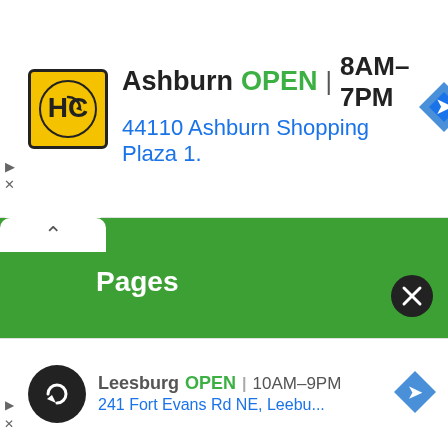[Figure (screenshot): Top advertisement banner for Hairclub (HC) Ashburn location. Shows HC logo in yellow/black, business name 'Ashburn', green 'OPEN' text, hours '8AM-7PM', address '44110 Ashburn Shopping Plaza 1.', and a blue navigation arrow icon.]
Pages
About Us
Contact Us
DMCA
Make Your Profile
Privacy & Policy
[Figure (screenshot): Bottom advertisement banner showing Leesburg location. OPEN 10AM-9PM, address '241 Fort Evans Rd NE, Leebu...', with loop logo and blue navigation arrow icon.]